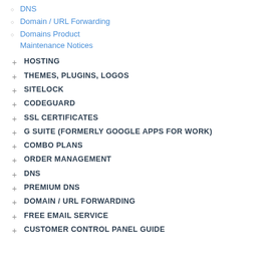DNS
Domain / URL Forwarding
Domains Product Maintenance Notices
+ HOSTING
+ THEMES, PLUGINS, LOGOS
+ SITELOCK
+ CODEGUARD
+ SSL CERTIFICATES
+ G SUITE (FORMERLY GOOGLE APPS FOR WORK)
+ COMBO PLANS
+ ORDER MANAGEMENT
+ DNS
+ PREMIUM DNS
+ DOMAIN / URL FORWARDING
+ FREE EMAIL SERVICE
+ CUSTOMER CONTROL PANEL GUIDE